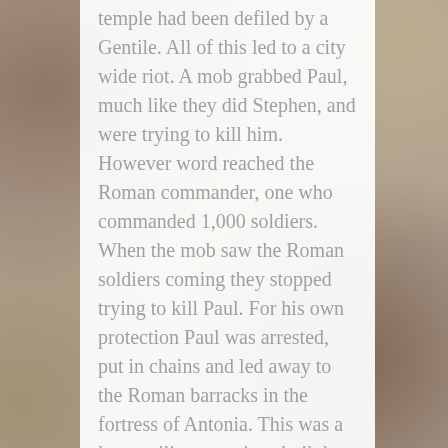temple had been defiled by a Gentile. All of this led to a city wide riot. A mob grabbed Paul, much like they did Stephen, and were trying to kill him. However word reached the Roman commander, one who commanded 1,000 soldiers. When the mob saw the Roman soldiers coming they stopped trying to kill Paul. For his own protection Paul was arrested, put in chains and led away to the Roman barracks in the fortress of Antonia. This was a large military garrison built by Herod the great on the northwest corner of the Temple Mount. When the commander asked what Paul had
[Figure (photo): Background photo of what appears to be ancient mosaic or stone tile patterns visible on the sides of the page]